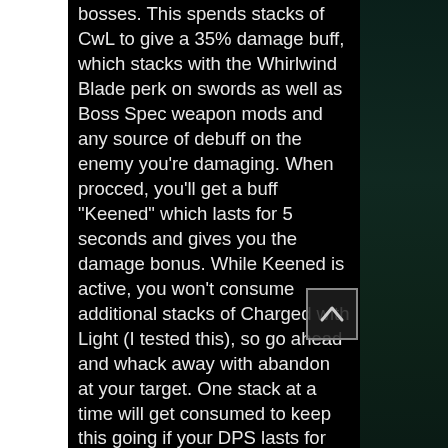bosses. This spends stacks of CwL to give a 35% damage buff, which stacks with the Whirlwind Blade perk on swords as well as Boss Spec weapon mods and any source of debuff on the enemy you're damaging. When procced, you'll get a buff "Keened" which lasts for 5 seconds and gives you the damage bonus. While Keened is active, you won't consume additional stacks of Charged with Light (I tested this), so go ahead and whack away with abandon at your target. One stack at a time will get consumed to keep this going if your DPS lasts for more than 5 seconds.
Swift Charge